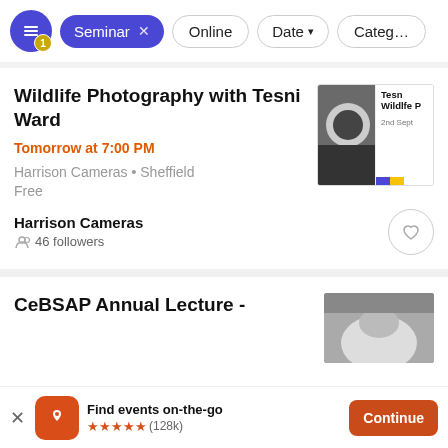[Figure (screenshot): Filter bar with active Seminar filter chip, Online, Date, and Category buttons]
Wildlife Photography with Tesni Ward
Tomorrow at 7:00 PM
Harrison Cameras • Sheffield
Free
[Figure (photo): Black and white wildlife photo thumbnail with event overlay showing Tesni, Wildlife, 2nd Sept, blue and yellow bars]
Harrison Cameras
46 followers
CeBSAP Annual Lecture -
[Figure (photo): Partial photo of a face at the top of the second event card]
Find events on-the-go ★★★★★ (128k)